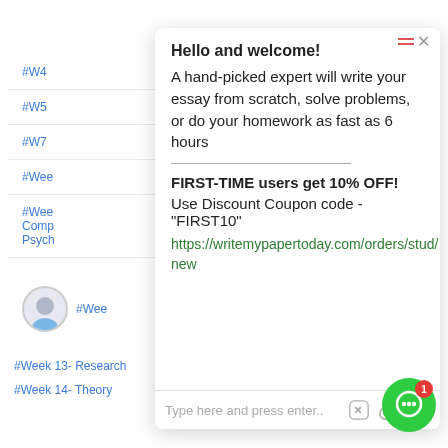#W4
#W5
#W7
#Wee
#Wee Comp Psych
Hello and welcome!
A hand-picked expert will write your essay from scratch, solve problems, or do your homework as fast as 6 hours
FIRST-TIME users get 10% OFF!
Use Discount Coupon code - "FIRST10"
https://writemypapertoday.com/orders/stud/new
Type here and press enter..
#Week 13- Research
#Week 14- Policy
#Week 14- Theory
#Week 15